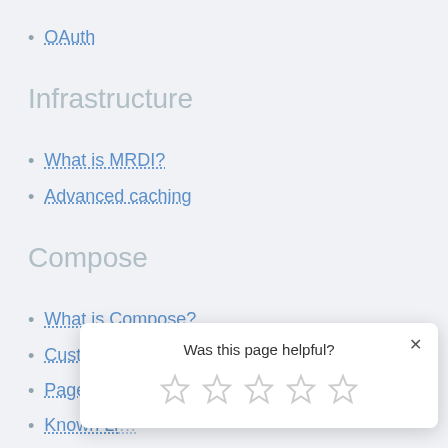OAuth
Infrastructure
What is MRDI?
Advanced caching
Compose
What is Compose?
Customizable Compose content model
Page types
Known Li…
Upgrade t… …tent model
Was this page helpful?